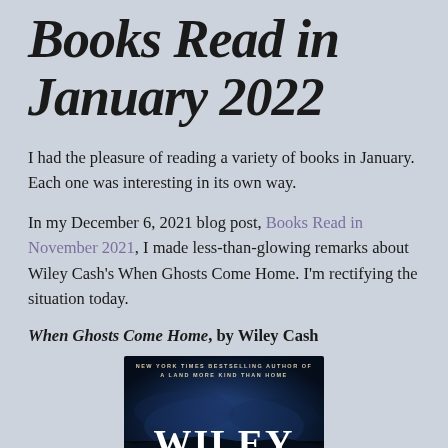Books Read in January 2022
I had the pleasure of reading a variety of books in January. Each one was interesting in its own way.
In my December 6, 2021 blog post, Books Read in November 2021, I made less-than-glowing remarks about Wiley Cash's When Ghosts Come Home. I'm rectifying the situation today.
When Ghosts Come Home, by Wiley Cash
[Figure (photo): Book cover of 'When Ghosts Come Home' by Wiley Cash, showing a dark blue atmospheric cover with text 'NEW YORK TIMES BESTSELLING AUTHOR OF A LAND MORE KIND THAN HOME' at the top and 'WILEY' in large white letters at the bottom.]